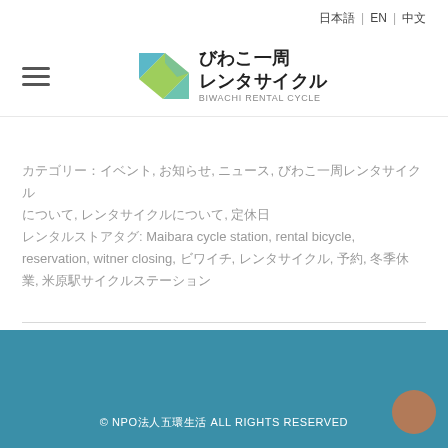日本語 | EN | 中文
[Figure (logo): びわこ一周レンタサイクル (BIWACHI RENTAL CYCLE) logo with geometric teal/green triangular icon]
カテゴリー：イベント, お知らせ, ニュース, びわこ一周レンタサイクルについて, レンタサイクルについて, 定休日
レンタルストアタグ: Maibara cycle station, rental bicycle, reservation, witner closing, ビワイチ, レンタサイクル, 予約, 冬季休業, 米原駅サイクルステーション
© NPO法人五環生活 ALL RIGHTS RESERVED